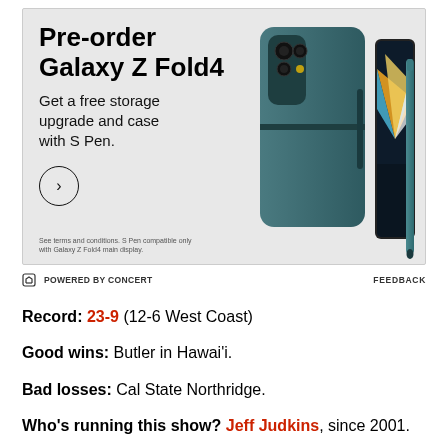[Figure (photo): Samsung Galaxy Z Fold4 pre-order advertisement. Shows a teal/green foldable phone with S Pen stylus on the right, text on the left: 'Pre-order Galaxy Z Fold4', 'Get a free storage upgrade and case with S Pen.' with a circle arrow button and fine print about terms and S Pen compatibility.]
POWERED BY CONCERT      FEEDBACK
Record: 23-9 (12-6 West Coast)
Good wins: Butler in Hawai'i.
Bad losses: Cal State Northridge.
Who's running this show? Jeff Judkins, since 2001.